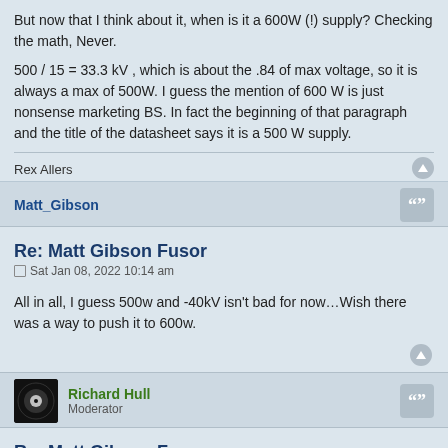But now that I think about it, when is it a 600W (!) supply? Checking the math, Never.
500 / 15 = 33.3 kV , which is about the .84 of max voltage, so it is always a max of 500W. I guess the mention of 600 W is just nonsense marketing BS. In fact the beginning of that paragraph and the title of the datasheet says it is a 500 W supply.
Rex Allers
Matt_Gibson
Re: Matt Gibson Fusor
Sat Jan 08, 2022 10:14 am
All in all, I guess 500w and -40kV isn't bad for now…Wish there was a way to push it to 600w.
Richard Hull
Moderator
Re: Matt Gibson Fusor